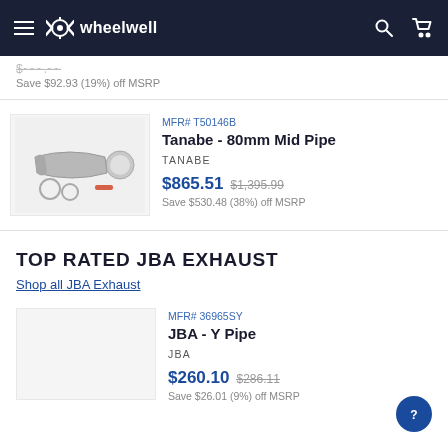wheelwell
Save $92.93 (19%) off MSRP
[Figure (photo): Tanabe 80mm Mid Pipe exhaust product photo on light gray background]
MFR# T50146B
Tanabe - 80mm Mid Pipe
TANABE
$865.51  $1,395.99  Save $530.48 (38%) off MSRP
TOP RATED JBA EXHAUST
Shop all JBA Exhaust
MFR# 36965SY
JBA - Y Pipe
JBA
$260.10  $286.11  Save $26.01 (9%) off MSRP